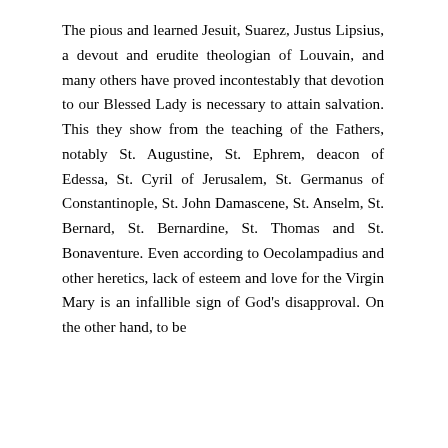The pious and learned Jesuit, Suarez, Justus Lipsius, a devout and erudite theologian of Louvain, and many others have proved incontestably that devotion to our Blessed Lady is necessary to attain salvation. This they show from the teaching of the Fathers, notably St. Augustine, St. Ephrem, deacon of Edessa, St. Cyril of Jerusalem, St. Germanus of Constantinople, St. John Damascene, St. Anselm, St. Bernard, St. Bernardine, St. Thomas and St. Bonaventure. Even according to Oecolampadius and other heretics, lack of esteem and love for the Virgin Mary is an infallible sign of God's disapproval. On the other hand, to be ...